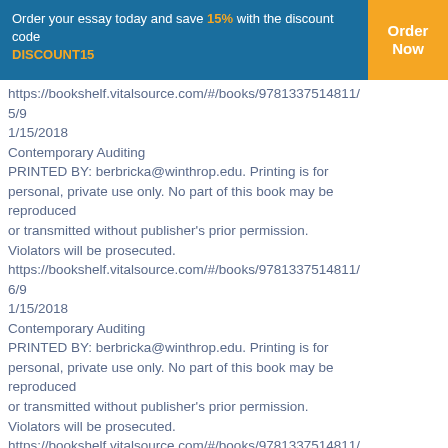Order your essay today and save 15% with the discount code DISCOUNT15 | Order Now
https://bookshelf.vitalsource.com/#/books/9781337514811/5/9
1/15/2018
Contemporary Auditing
PRINTED BY: berbricka@winthrop.edu. Printing is for personal, private use only. No part of this book may be reproduced
or transmitted without publisher's prior permission. Violators will be prosecuted.
https://bookshelf.vitalsource.com/#/books/9781337514811/6/9
1/15/2018
Contemporary Auditing
PRINTED BY: berbricka@winthrop.edu. Printing is for personal, private use only. No part of this book may be reproduced
or transmitted without publisher's prior permission. Violators will be prosecuted.
https://bookshelf.vitalsource.com/#/books/9781337514811